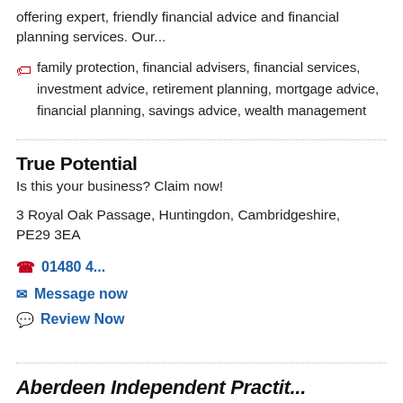offering expert, friendly financial advice and financial planning services. Our...
family protection, financial advisers, financial services, investment advice, retirement planning, mortgage advice, financial planning, savings advice, wealth management
True Potential
Is this your business? Claim now!
3 Royal Oak Passage, Huntingdon, Cambridgeshire, PE29 3EA
01480 4...
Message now
Review Now
Aberdeen Independent Practit...